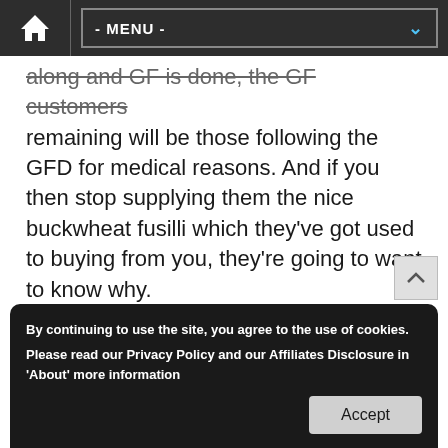Home | - MENU -
along and GF is done, the GF customers remaining will be those following the GFD for medical reasons. And if you then stop supplying them the nice buckwheat fusilli which they've got used to buying from you, they're going to want to know why.
Share this:
[Figure (illustration): Twitter share button (blue circle with Twitter bird icon) and Facebook share button (blue circle with Facebook 'f' icon)]
Related
new coeliac standard for 'nutrition' gluten free
January 4, 2012
In "coeliac disease"
By continuing to use the site, you agree to the use of cookies.

Please read our Privacy Policy and our Affiliates Disclosure in 'About' more information
Accept